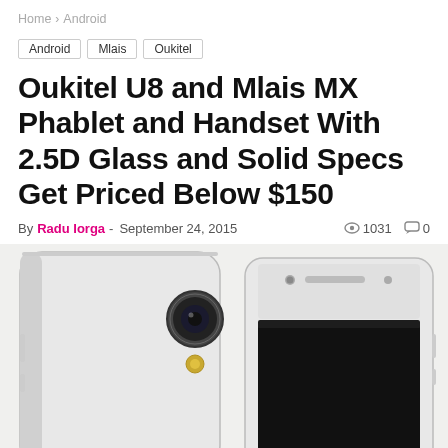Home > Android
Android
Mlais
Oukitel
Oukitel U8 and Mlais MX Phablet and Handset With 2.5D Glass and Solid Specs Get Priced Below $150
By Radu Iorga - September 24, 2015  1031  0
[Figure (photo): Two white smartphones shown from the back and front. Left device shows the rear camera and flash of the Oukitel U8. Right device shows the front screen and top bezel of a white smartphone.]